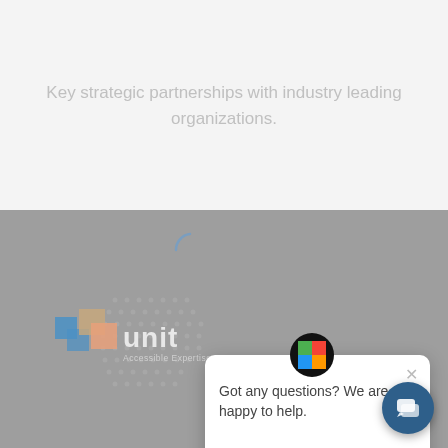Key strategic partnerships with industry leading organizations.
[Figure (logo): Unitec logo with colorful squares and text 'Accessible Expertise']
[Figure (screenshot): Chat popup widget with colorful app icon, close button, and message 'Got any questions? We are happy to help.']
Got any questions? We are happy to help.